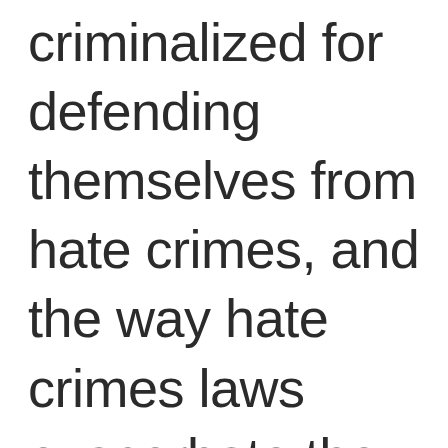criminalized for defending themselves from hate crimes, and the way hate crimes laws exacerbate the